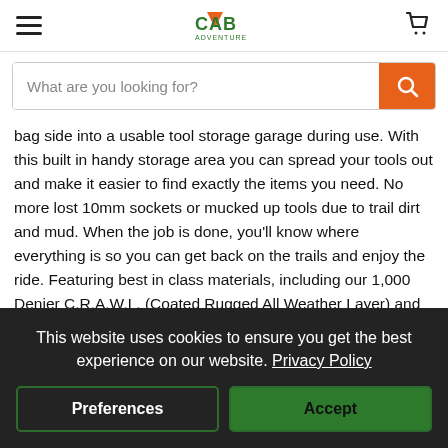CAB Adventure logo, hamburger menu, cart icon
What are you looking for?
bag side into a usable tool storage garage during use. With this built in handy storage area you can spread your tools out and make it easier to find exactly the items you need. No more lost 10mm sockets or mucked up tools due to trail dirt and mud. When the job is done, you'll know where everything is so you can get back on the trails and enjoy the ride. Featuring best in class materials, including our 1,000 Denier C.R.A.W.L. (Coated Rugged All Weather Layer) and STEP 22 multi-level TreadWeave, this Tool Roll is built to last!
This website uses cookies to ensure you get the best experience on our website. Privacy Policy
Preferences
Accept